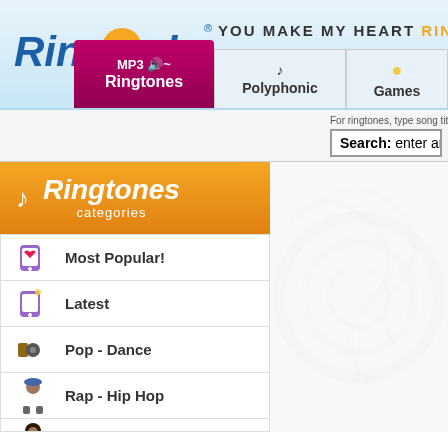[Figure (screenshot): RingOphone website header with logo, tagline 'YOU MAKE MY HEART RING...', and navigation tabs for MP3 Ringtones, Polyphonic, and Games]
For ringtones, type song title, artist ot music style.
Search: enter artist, song or
[Figure (illustration): Orange ribbon banner with musical note icon and text 'Ringtones categories']
Most Popular!
Latest
Pop - Dance
Rap - Hip Hop
R&B - Soul
Rock
Heavy Metal